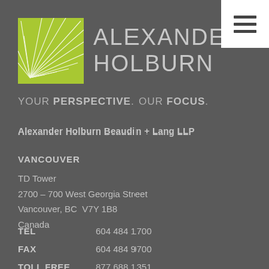[Figure (logo): Alexander Holburn law firm logo: green square with white ray lines and firm name in grey sans-serif text]
YOUR PERSPECTIVE. OUR FOCUS.
Alexander Holburn Beaudin + Lang LLP
VANCOUVER
TD Tower
2700 – 700 West Georgia Street
Vancouver, BC  V7Y 1B8
Canada
TEL   604 484 1700
FAX   604 484 9700
TOLL FREE   877 688 1351